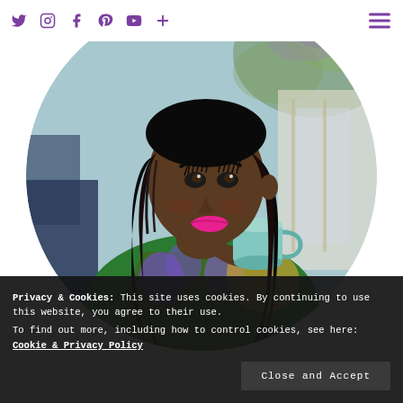Social media icons: Twitter, Instagram, Facebook, Pinterest, YouTube, Plus | Hamburger menu
[Figure (photo): A woman with long braided hair holding a light blue teacup, wearing a colorful floral and leopard print outfit, sitting in a cafe-style background. The image is cropped in a circular frame.]
Privacy & Cookies: This site uses cookies. By continuing to use this website, you agree to their use.
To find out more, including how to control cookies, see here: Cookie & Privacy Policy
Close and Accept